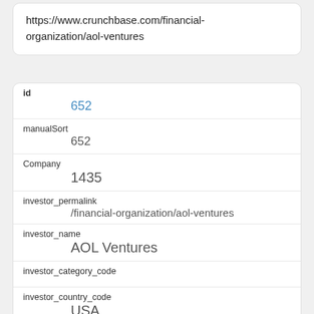https://www.crunchbase.com/financial-organization/aol-ventures
| Field | Value |
| --- | --- |
| id | 652 |
| manualSort | 652 |
| Company | 1435 |
| investor_permalink | /financial-organization/aol-ventures |
| investor_name | AOL Ventures |
| investor_category_code |  |
| investor_country_code | USA |
| investor_state_code | NY |
| investor_region |  |